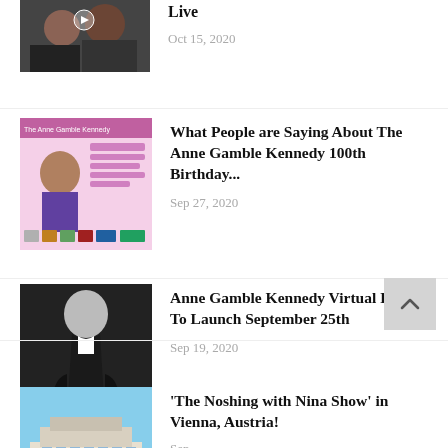[Figure (photo): Partial thumbnail of two people, partially cropped at top of page]
Live
Oct 15, 2020
[Figure (photo): Pink/colorful event flyer thumbnail for Anne Gamble Kennedy 100th Birthday]
What People are Saying About The Anne Gamble Kennedy 100th Birthday...
Sep 27, 2020
[Figure (photo): Black and white photo of woman in dark dress]
Anne Gamble Kennedy Virtual Exhibit To Launch September 25th
Sep 19, 2020
[Figure (photo): Photo of man with hat in front of a European building (Vienna)]
'The Noshing with Nina Show' in Vienna, Austria!
Sep